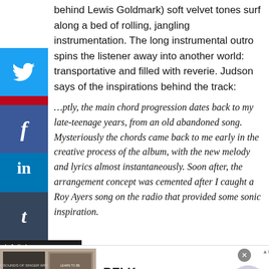behind Lewis Goldmark) soft velvet tones surf along a bed of rolling, jangling instrumentation. The long instrumental outro spins the listener away into another world: transportative and filled with reverie. Judson says of the inspirations behind the track:
…ptly, the main chord progression dates back to my late-teenage years, from an old abandoned song. Mysteriously the chords came back to me early in the creative process of the album, with the new melody and lyrics almost instantaneously. Soon after, the arrangement concept was cemented after I caught a Roy Ayers song on the radio that provided some sonic inspiration.
[Figure (screenshot): Social media share buttons on left side: Facebook (blue), Twitter (light blue), Pinterest (red), LinkedIn (blue), Tumblr (dark). Infolinks label at bottom left. Advertisement banner at bottom: Belk brand, Denim all day, www.belk.com, with product images and navigation arrow.]